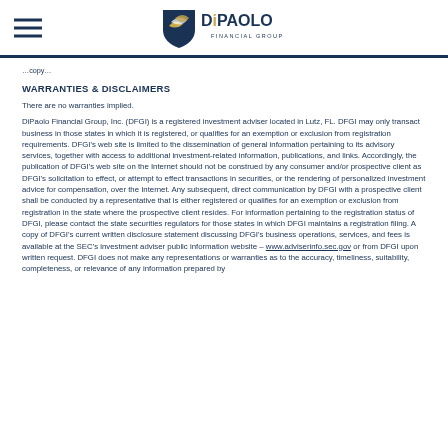DiPaolo Financial Group
…copy…
WARRANTIES & DISCLAIMERS
There are no warranties implied.
DiPaolo Financial Group, Inc. (DFGI) is a registered investment adviser located in Lutz, FL. DFGI may only transact business in those states in which it is registered, or qualifies for an exemption or exclusion from registration requirements. DFGI's web site is limited to the dissemination of general information pertaining to its advisory services, together with access to additional investment-related information, publications, and links. Accordingly, the publication of DFGI's web site on the Internet should not be construed by any consumer and/or prospective client as DFGI's solicitation to effect, or attempt to effect transactions in securities, or the rendering of personalized investment advice for compensation, over the Internet. Any subsequent, direct communication by DFGI with a prospective client shall be conducted by a representative that is either registered or qualifies for an exemption or exclusion from registration in the state where the prospective client resides. For information pertaining to the registration status of DFGI, please contact the state securities regulators for those states in which DFGI maintains a registration filing. A copy of DFGI's current written disclosure statement discussing DFGI's business operations, services, and fees is available at the SEC's investment adviser public information website – www.adviserinfo.sec.gov or from DFGI upon written request. DFGI does not make any representations or warranties as to the accuracy, timeliness, suitability, completeness, or relevance of any information prepared by